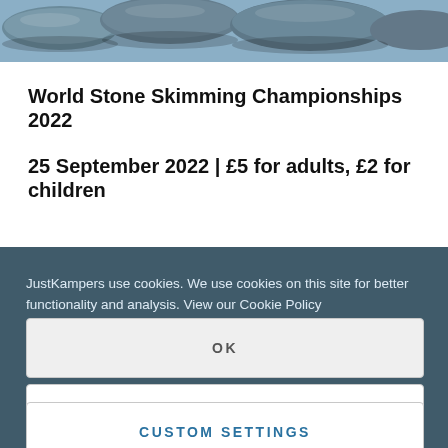[Figure (photo): Top portion showing stacked smooth grey/blue stones or pebbles, partial view]
World Stone Skimming Championships 2022
25 September 2022 | £5 for adults, £2 for children
JustKampers use cookies. We use cookies on this site for better functionality and analysis. View our Cookie Policy
OK
DECLINE
CUSTOM SETTINGS